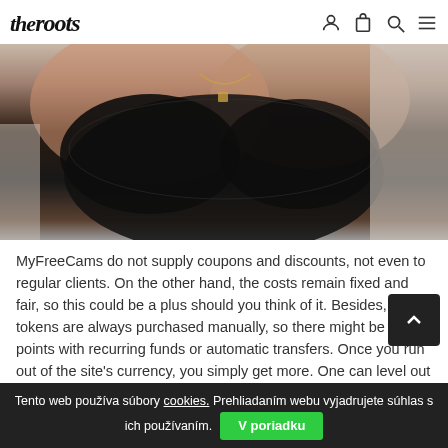theroots
[Figure (photo): A woman in a black lace bralette with a gold necklace, photographed from below the neck, indoor setting.]
MyFreeCams do not supply coupons and discounts, not even to regular clients. On the other hand, the costs remain fixed and fair, so this could be a plus should you think of it. Besides, all tokens are always purchased manually, so there might be no points with recurring funds or automatic transfers. Once you run out of the site's currency, you simply get more. One can level out no much less than four levels of profile completion. The first one includes very basic
Tento web používa súbory cookies. Prehliadaním webu vyjadrujete súhlas s ich používaním. V poriadku